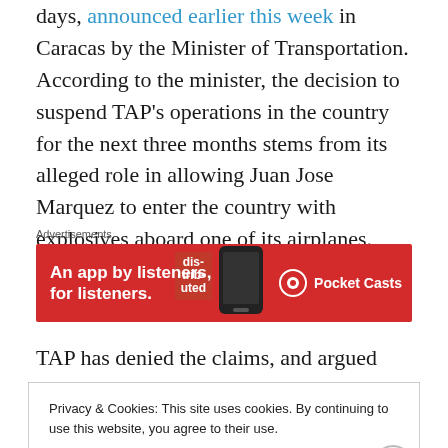days, announced earlier this week in Caracas by the Minister of Transportation. According to the minister, the decision to suspend TAP's operations in the country for the next three months stems from its alleged role in allowing Juan Jose Marquez to enter the country with explosives aboard one of its airplanes.
[Figure (other): Advertisement banner for Pocket Casts app: red background with text 'An app by listeners, for listeners.' and Pocket Casts logo with phone image and 'distributed' text block]
TAP has denied the claims, and argued that it is
Privacy & Cookies: This site uses cookies. By continuing to use this website, you agree to their use. To find out more, including how to control cookies, see here: Cookie Policy